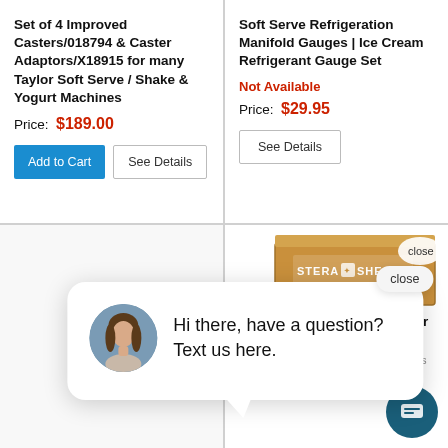Set of 4 Improved Casters/018794 & Caster Adaptors/X18915 for many Taylor Soft Serve / Shake & Yogurt Machines
Price: $189.00
Soft Serve Refrigeration Manifold Gauges | Ice Cream Refrigerant Gauge Set
Not Available
Price: $29.95
[Figure (photo): Stera Sheen cleaner box product image]
Stera Sheen Cleaner Sanitizer case of 100 Packets
Price: SKU: Steara Sheen 100 Packets
Hi there, have a question? Text us here.